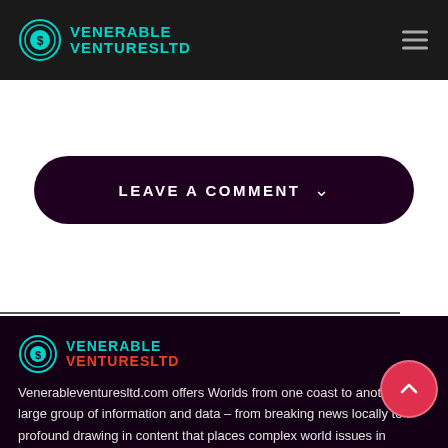VENERABLE VENTURESLTD
LEAVE A COMMENT
[Figure (logo): Venerable Ventures Ltd logo with teal circular dollar sign icon and teal text]
Venerableventuresltd.com offers Worlds from one coast to another a large group of information and data – from breaking news locally to profound drawing in content that places complex world issues in context.
Recent Posts